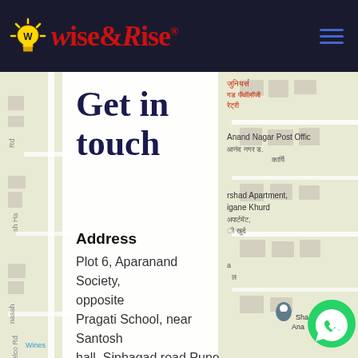Wise&Rise
Get in touch
Address
Plot 6, Aparanand Society, opposite Pragati School, near Santosh hall, Sinhagad road Pune , 411051
Call Us
[Figure (map): Google Maps snippet showing area near Sinhagad road Pune, with map labels in English and Marathi including Anand Nagar Post Office, Arshad Apartment, Whatsapp button overlay, and a location pin marker]